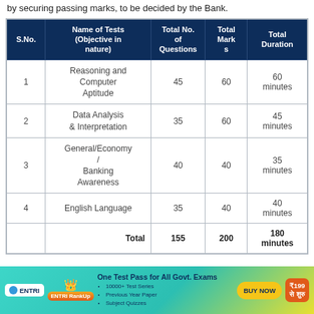by securing passing marks, to be decided by the Bank.
| S.No. | Name of Tests (Objective in nature) | Total No. of Questions | Total Marks | Total Duration |
| --- | --- | --- | --- | --- |
| 1 | Reasoning and Computer Aptitude | 45 | 60 | 60 minutes |
| 2 | Data Analysis & Interpretation | 35 | 60 | 45 minutes |
| 3 | General/Economy / Banking Awareness | 40 | 40 | 35 minutes |
| 4 | English Language | 35 | 40 | 40 minutes |
|  | Total | 155 | 200 | 180 minutes |
[Figure (infographic): ENTRI advertisement banner: One Test Pass for All Govt. Exams. 10000+ Test Series, Previous Year Paper, Subject Quizzes. BUY NOW. ₹199 से शुरु]